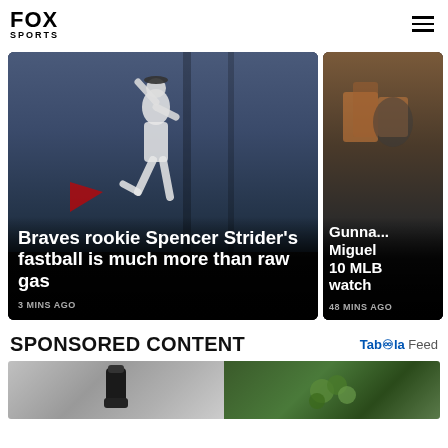FOX SPORTS
[Figure (photo): Fox Sports news card: Braves pitcher in white uniform mid-windup against dark blue stadium background. Overlay text: 'Braves rookie Spencer Strider's fastball is much more than raw gas'. Timestamp: 3 MINS AGO]
[Figure (photo): Fox Sports news card (partially visible): Dark background with person and books. Overlay text: 'Gunna... Miguel... 10 MLB... watch...' Timestamp: 48 MINS AGO]
SPONSORED CONTENT
[Figure (logo): Taboola Feed logo]
[Figure (photo): Sponsored content image showing a dark supplement shaker bottle on left and green food/vegetables on right]